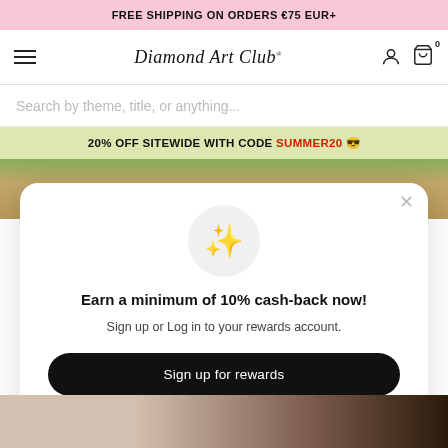FREE SHIPPING ON ORDERS €75 EUR+
[Figure (screenshot): Navigation bar with hamburger menu, Diamond Art Club cursive logo, person icon and cart icon with 0]
Search by theme, title, or anything...
20% OFF SITEWIDE WITH CODE SUMMER20 😎
[Figure (photo): Background photo showing a sandy path with green grass and wooden border]
[Figure (infographic): Popup modal with sparkle star icon, heading: Earn a minimum of 10% cash-back now!, subtext: Sign up or Log in to your rewards account., button: Sign up for rewards, footer: Already have an account? Sign in]